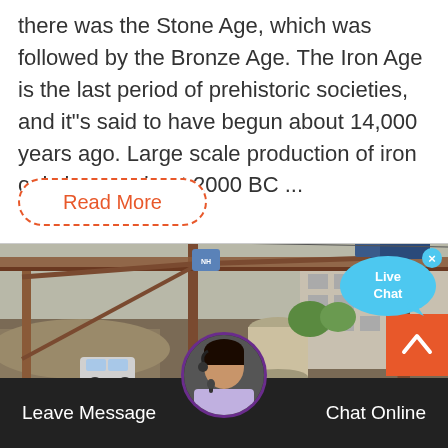there was the Stone Age, which was followed by the Bronze Age. The Iron Age is the last period of prehistoric societies, and it"s said to have begun about 14,000 years ago. Large scale production of iron only began about 2000 BC ...
Read More
[Figure (photo): Outdoor industrial scene showing large rusty steel framework/gantry structure with a truck or crane machinery on top, road signs visible, buildings in background, daytime.]
[Figure (infographic): Live Chat speech bubble widget in blue, with an x close button, positioned in top-right corner over the photo.]
[Figure (infographic): Orange scroll-to-top button with upward chevron arrow, bottom-right corner.]
[Figure (photo): Customer service avatar: woman wearing headset, circular portrait photo at bottom center.]
Leave Message    Chat Online